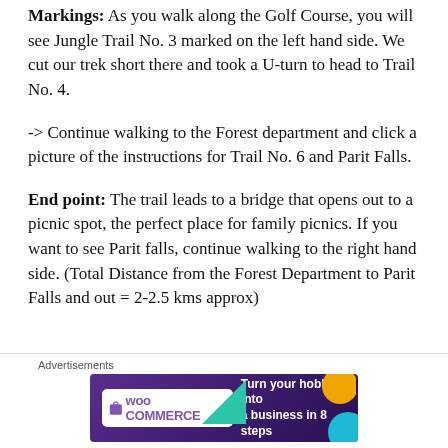Markings: As you walk along the Golf Course, you will see Jungle Trail No. 3 marked on the left hand side. We cut our trek short there and took a U-turn to head to Trail No. 4.
-> Continue walking to the Forest department and click a picture of the instructions for Trail No. 6 and Parit Falls.
End point: The trail leads to a bridge that opens out to a picnic spot, the perfect place for family picnics. If you want to see Parit falls, continue walking to the right hand side. (Total Distance from the Forest Department to Parit Falls and out = 2-2.5 kms approx)
[Figure (other): WooCommerce advertisement banner: 'Turn your hobby into a business in 8 steps' with purple background and geometric shapes]